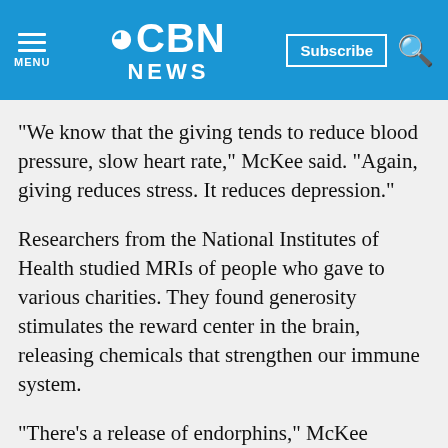CBN NEWS
"We know that the giving tends to reduce blood pressure, slow heart rate," McKee said. "Again, giving reduces stress. It reduces depression."
Researchers from the National Institutes of Health studied MRIs of people who gave to various charities. They found generosity stimulates the reward center in the brain, releasing chemicals that strengthen our immune system.
"There's a release of endorphins," McKee explained. "These are the kinds of magical chemicals that come from various areas in the